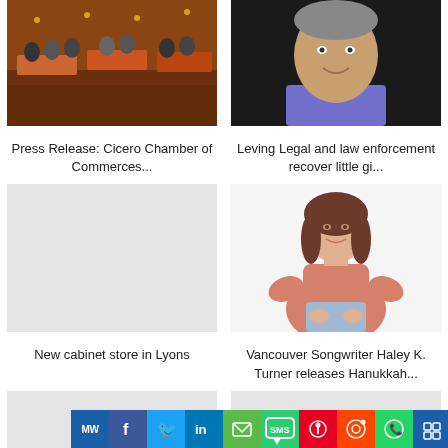[Figure (photo): Banquet/event hall with people seated at tables with orange tablecloths]
[Figure (photo): Headshot of a man smiling, wearing a suit]
Press Release: Cicero Chamber of Commerces...
Leving Legal and law enforcement recover little gi...
[Figure (photo): Gray placeholder image]
[Figure (photo): Young woman with brown hair sitting, wearing a pink/salmon sweater and ripped jeans]
New cabinet store in Lyons
Vancouver Songwriter Haley K. Turner releases Hanukkah...
[Figure (photo): Gray placeholder image bottom left]
[Figure (photo): Gray placeholder image bottom right]
[Figure (screenshot): Social sharing bar with icons: MW, Facebook, Twitter, LinkedIn, Email, SMS, Pinterest, Reddit, WhatsApp, Share, More]